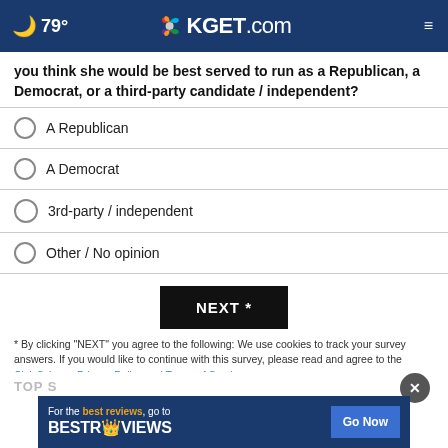🌙 79° KGET.com
you think she would be best served to run as a Republican, a Democrat, or a third-party candidate / independent?
A Republican
A Democrat
3rd-party / independent
Other / No opinion
NEXT *
* By clicking "NEXT" you agree to the following: We use cookies to track your survey answers. If you would like to continue with this survey, please read and agree to the CivicScience Privacy Policy and Terms of Service
TOP S
[Figure (screenshot): Advertisement banner: For the best reviews, go to BESTREVIEWS with Go Now button]